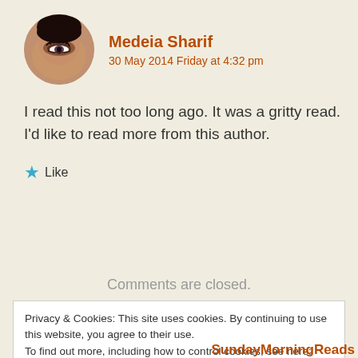[Figure (photo): Circular avatar photo of Medeia Sharif showing a close-up of an eye with dark eyeliner and lashes]
Medeia Sharif
30 May 2014 Friday at 4:32 pm
I read this not too long ago. It was a gritty read. I'd like to read more from this author.
★ Like
Comments are closed.
Privacy & Cookies: This site uses cookies. By continuing to use this website, you agree to their use.
To find out more, including how to control cookies, see here: Cookie Policy
Close and accept
SundayMorningReads